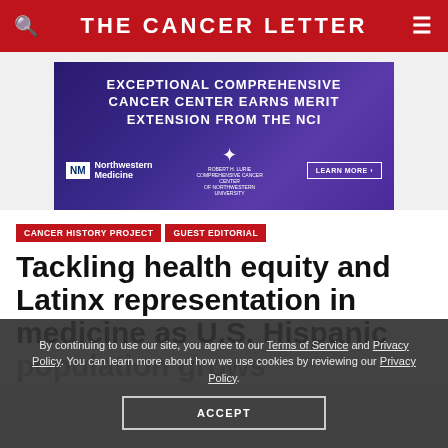THE CANCER LETTER
[Figure (screenshot): Advertisement banner for Northwestern Medicine featuring text: EXCEPTIONAL COMPREHENSIVE CANCER CENTER EARNS MERIT EXTENSION FROM THE NCI, with Northwestern Medicine logo, cancer center logo, and LEARN MORE button on purple/blue gradient background]
CANCER HISTORY PROJECT
GUEST EDITORIAL
Tackling health equity and Latinx representation in medicine as U.S. Hispanic population grows
By continuing to use our site, you agree to our Terms of Service and Privacy Policy. You can learn more about how we use cookies by reviewing our Privacy Policy. ACCEPT